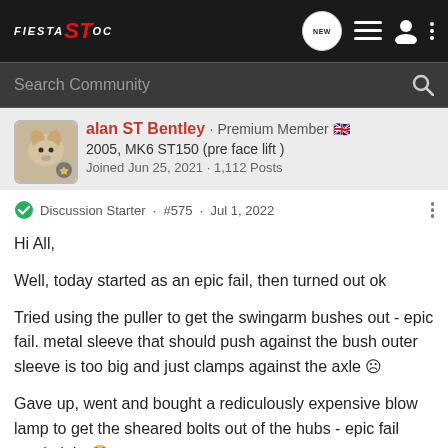FIESTA ST OC
Search Community
alan ST Bentley · Premium Member 🇬🇧
2005, MK6 ST150 (pre face lift )
Joined Jun 25, 2021 · 1,112 Posts
Discussion Starter · #575 · Jul 1, 2022
Hi All,

Well, today started as an epic fail, then turned out ok

Tried using the puller to get the swingarm bushes out - epic fail. metal sleeve that should push against the bush outer sleeve is too big and just clamps against the axle ☹

Gave up, went and bought a rediculously expensive blow lamp to get the sheared bolts out of the hubs - epic fail stuck tight 😳